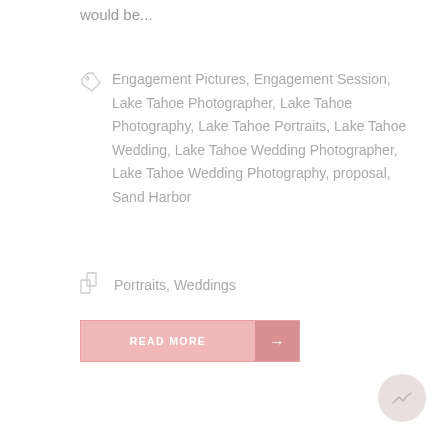would be...
Engagement Pictures, Engagement Session, Lake Tahoe Photographer, Lake Tahoe Photography, Lake Tahoe Portraits, Lake Tahoe Wedding, Lake Tahoe Wedding Photographer, Lake Tahoe Wedding Photography, proposal, Sand Harbor
Portraits, Weddings
READ MORE →